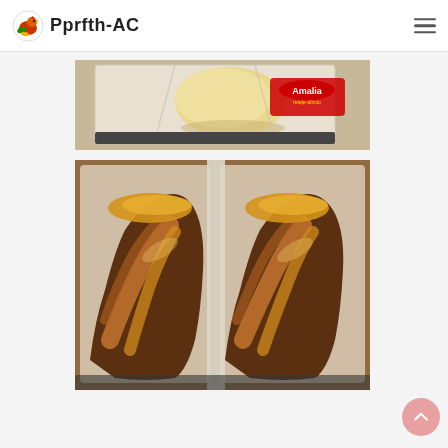Pprfth-AC
[Figure (photo): Bread dough resting on a cloth-lined baking tray, with an Amalia brand watermark visible in the top right corner]
[Figure (photo): Two braided sweet breads (cozonac) baked golden-brown, placed side by side in parchment-lined baking tins]